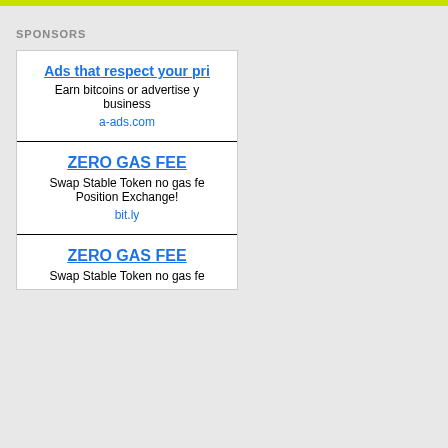SPONSORS
Ads that respect your pri
Earn bitcoins or advertise y business
a-ads.com
ZERO GAS FEE
Swap Stable Token no gas fe Position Exchange!
bit.ly
ZERO GAS FEE
Swap Stable Token no gas fe